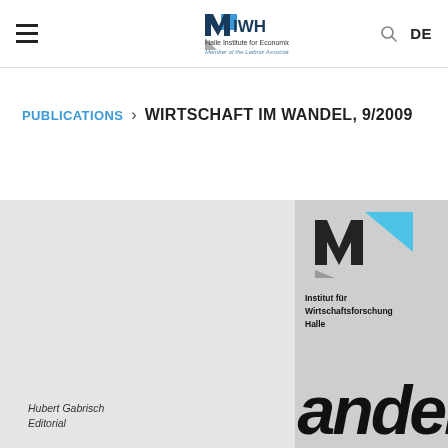IWH – Halle Institute for Economic Research, Member of the Leibniz Association
PUBLICATIONS > WIRTSCHAFT IM WANDEL, 9/2009
[Figure (illustration): Book cover of Wirtschaft im Wandel 9/2009 with IWH logo, partial 'andel' text, Institut für Wirtschaftsforschung Halle label, and author Hubert Gabrisch / Editorial text]